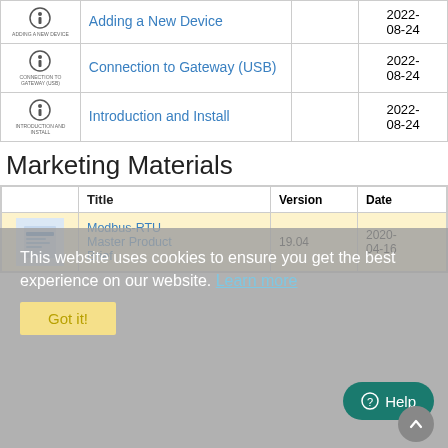|  | Title | Version | Date |
| --- | --- | --- | --- |
| [icon] | Adding a New Device |  | 2022-08-24 |
| [icon] | Connection to Gateway (USB) |  | 2022-08-24 |
| [icon] | Introduction and Install |  | 2022-08-24 |
Marketing Materials
|  | Title | Version | Date |
| --- | --- | --- | --- |
| [icon] | Modbus-RTU Master Product Brief | 19.04 | 2020-04-16 |
This website uses cookies to ensure you get the best experience on our website. Learn more